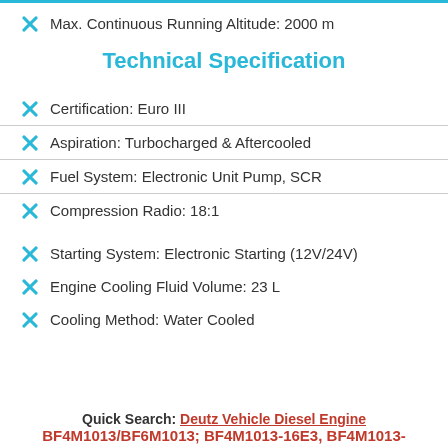Max. Continuous Running Altitude: 2000 m
Technical Specification
Certification: Euro III
Aspiration: Turbocharged & Aftercooled
Fuel System: Electronic Unit Pump, SCR
Compression Radio: 18:1
Starting System: Electronic Starting (12V/24V)
Engine Cooling Fluid Volume: 23 L
Cooling Method: Water Cooled
Quick Search: Deutz Vehicle Diesel Engine BF4M1013/BF6M1013; BF4M1013-16E3, BF4M1013-